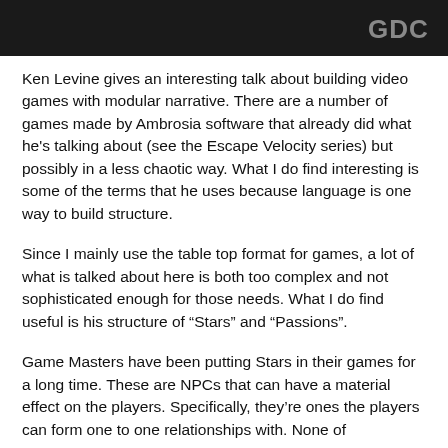[Figure (screenshot): Dark/black header banner with GDC logo in the upper right corner]
Ken Levine gives an interesting talk about building video games with modular narrative. There are a number of games made by Ambrosia software that already did what he's talking about (see the Escape Velocity series) but possibly in a less chaotic way. What I do find interesting is some of the terms that he uses because language is one way to build structure.
Since I mainly use the table top format for games, a lot of what is talked about here is both too complex and not sophisticated enough for those needs. What I do find useful is his structure of “Stars” and “Passions”.
Game Masters have been putting Stars in their games for a long time. These are NPCs that can have a material effect on the players. Specifically, they’re ones the players can form one to one relationships with. None of